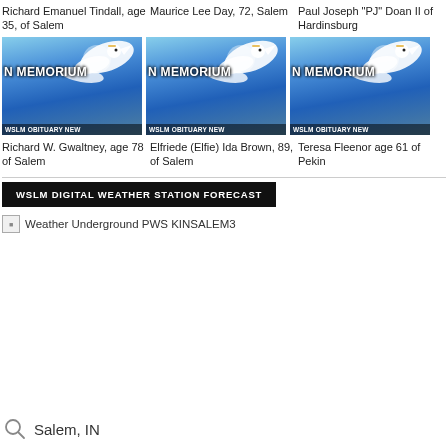Richard Emanuel Tindall, age 35, of Salem
[Figure (illustration): In Memoriam graphic with dove and blue sky, WSLM Obituary News banner]
Richard W. Gwaltney, age 78 of Salem
Maurice Lee Day, 72, Salem
[Figure (illustration): In Memoriam graphic with dove and blue sky, WSLM Obituary News banner]
Elfriede (Elfie) Ida Brown, 89, of Salem
Paul Joseph "PJ" Doan II of Hardinsburg
[Figure (illustration): In Memoriam graphic with dove and blue sky, WSLM Obituary News banner]
Teresa Fleenor age 61 of Pekin
WSLM DIGITAL WEATHER STATION FORECAST
[Figure (other): Weather Underground PWS KINSALEM3 widget (broken image)]
Salem, IN